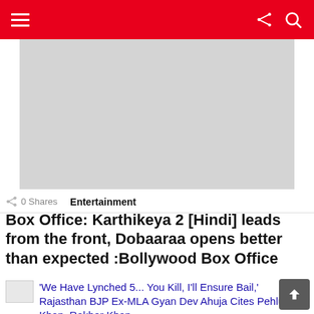Navigation bar with hamburger menu, share icon, and search icon
[Figure (other): Light gray rectangular placeholder image (advertisement or content image)]
0 Shares   Entertainment
Box Office: Karthikeya 2 [Hindi] leads from the front, Dobaaraa opens better than expected :Bollywood Box Office
'We Have Lynched 5... You Kill, I'll Ensure Bail,' Rajasthan BJP Ex-MLA Gyan Dev Ahuja Cites Pehlu Khan, Rakbar Khan